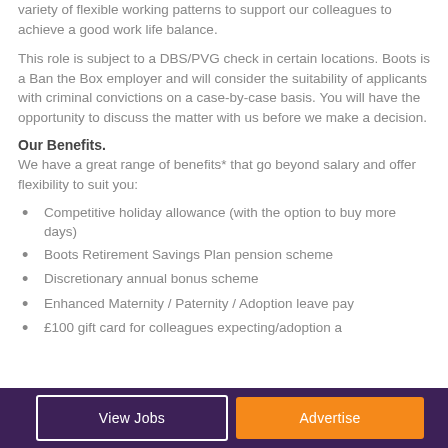variety of flexible working patterns to support our colleagues to achieve a good work life balance.
This role is subject to a DBS/PVG check in certain locations. Boots is a Ban the Box employer and will consider the suitability of applicants with criminal convictions on a case-by-case basis. You will have the opportunity to discuss the matter with us before we make a decision.
Our Benefits.
We have a great range of benefits* that go beyond salary and offer flexibility to suit you:
Competitive holiday allowance (with the option to buy more days)
Boots Retirement Savings Plan pension scheme
Discretionary annual bonus scheme
Enhanced Maternity / Paternity / Adoption leave pay
£100 gift card for colleagues expecting/adoption a...
View Jobs   Advertise